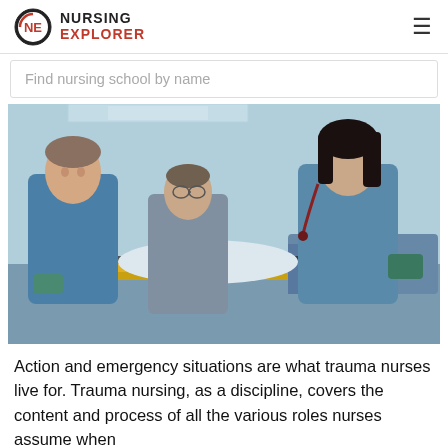NURSING EXPLORER
Find nursing school by name
[Figure (photo): Three medical professionals in scrubs attending to a patient on a gurney/stretcher in what appears to be an emergency or trauma setting. Two men and a woman are visible, all wearing blue scrubs, with the patient lying strapped to the stretcher.]
Action and emergency situations are what trauma nurses live for. Trauma nursing, as a discipline, covers the content and process of all the various roles nurses assume when